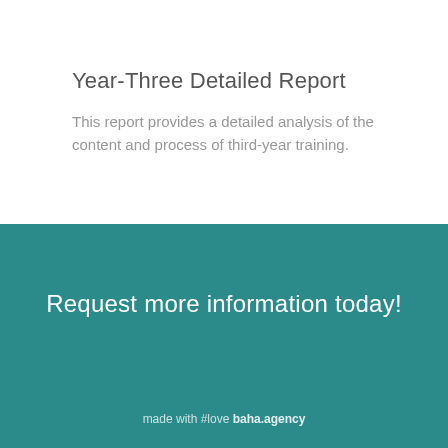Year-Three Detailed Report
This report provides a detailed analysis of the content and process of third-year training.
Request more information today!
made with #love baha.agency